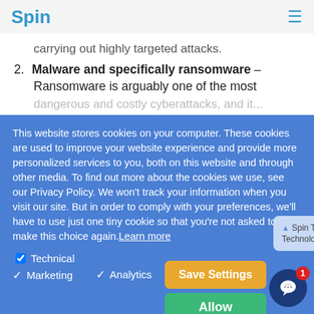Spin
carrying out highly targeted attacks.
2. Malware and specifically ransomware – Ransomware is arguably one of the most
This website stores cookies on your computer. These cookies are used to improve your website experience and provide more personalized services to you, both on this website and through other media. To find out more about the cookies we use, see our Privacy Policy. We won't track your information when you visit our site. But in order to comply with your preferences, we'll have to use just one tiny cookie so that you're not asked to make this choice again. Learn more
Technical  Marketing    Analytics
[Figure (screenshot): Notification popup: 'Spin Technology from Spin Technology' with close X button]
[Figure (screenshot): Save Settings button (orange) and Allow button (green), plus dark blue chat bubble with badge showing 1]